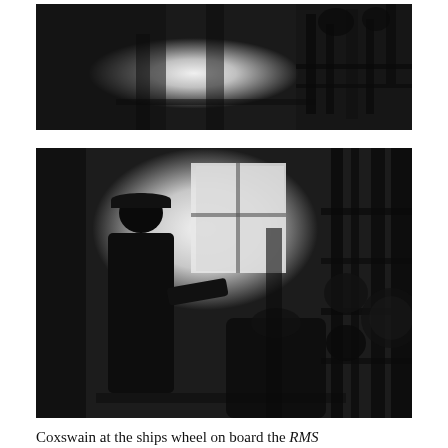[Figure (photo): Black and white photograph showing industrial machinery interior, dark scene with bright light source in center, mechanical equipment visible on right side]
[Figure (photo): Black and white photograph showing a person in uniform (coxswain) standing at a ship's wheel, silhouetted against a bright window, with machinery and equipment visible to the right]
Coxswain at the ships wheel on board the RMS